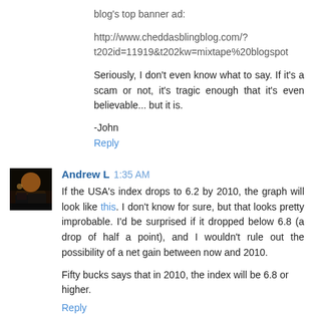blog's top banner ad:
http://www.cheddasblingblog.com/?t202id=11919&t202kw=mixtape%20blogspot
Seriously, I don't even know what to say. If it's a scam or not, it's tragic enough that it's even believable... but it is.
-John
Reply
Andrew L  1:35 AM
If the USA's index drops to 6.2 by 2010, the graph will look like this. I don't know for sure, but that looks pretty improbable. I'd be surprised if it dropped below 6.8 (a drop of half a point), and I wouldn't rule out the possibility of a net gain between now and 2010.
Fifty bucks says that in 2010, the index will be 6.8 or higher.
Reply